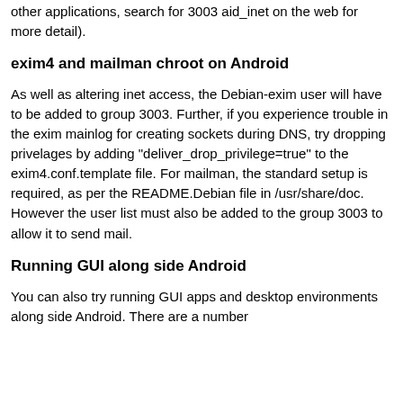other applications, search for 3003 aid_inet on the web for more detail).
exim4 and mailman chroot on Android
As well as altering inet access, the Debian-exim user will have to be added to group 3003. Further, if you experience trouble in the exim mainlog for creating sockets during DNS, try dropping privelages by adding "deliver_drop_privilege=true" to the exim4.conf.template file. For mailman, the standard setup is required, as per the README.Debian file in /usr/share/doc. However the user list must also be added to the group 3003 to allow it to send mail.
Running GUI along side Android
You can also try running GUI apps and desktop environments along side Android. There are a number